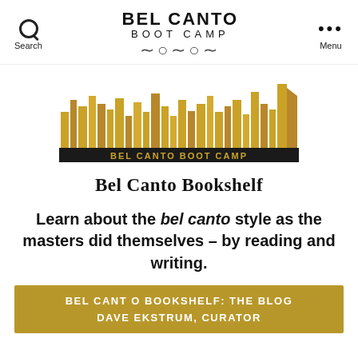BEL CANTO BOOT CAMP
[Figure (logo): Bel Canto Boot Camp bookshelf logo with golden books and a black banner reading 'BEL CANTO BOOT CAMP']
Bel Canto Bookshelf
Learn about the bel canto style as the masters did themselves – by reading and writing.
BEL CANTO BOOKSHELF: THE BLOG
DAVE EKSTRUM, CURATOR